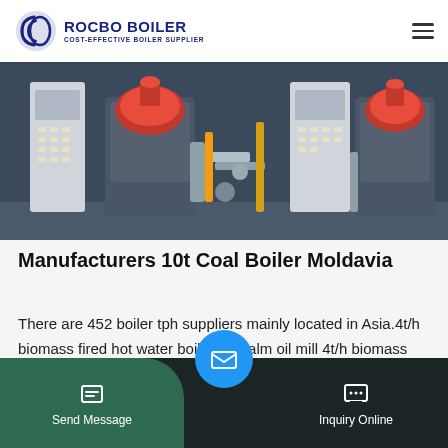[Figure (logo): Rocbo Boiler logo with circular icon and text 'ROCBO BOILER - COST-EFFECTIVE BOILER SUPPLIER']
[Figure (photo): Industrial boiler room with two red-topped boiler units, control panels, pipes, and equipment in a workshop setting]
Manufacturers 10t Coal Boiler Moldavia
There are 452 boiler tph suppliers mainly located in Asia.4t/h biomass fired hot water boiler for palm oil mill 4t/h biomass fired hot water boiler for palm oil mill. 7Mw-14Mw. 3.Pressure boiler or atmospheric pressure boiler. 4.Single drum fire tube and water tu…
[Figure (infographic): Bottom navigation bar with Send Message button (green), email icon (blue circle), and Inquiry Online button (dark)]